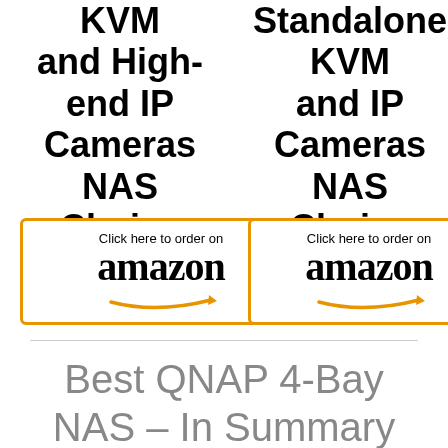KVM and High-end IP Cameras NAS Choice
[Figure (other): Amazon order button with orange border, 'Click here to order on amazon' text and smile logo - left column]
Standalone KVM and IP Cameras NAS Choice
[Figure (other): Amazon order button with orange border, 'Click here to order on amazon' text and smile logo - right column]
Best QNAP 4-Bay NAS – In Summary